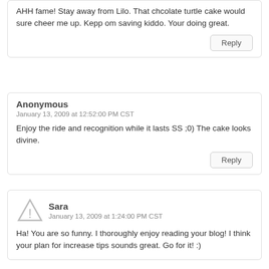AHH fame! Stay away from Lilo. That chcolate turtle cake would sure cheer me up. Kepp om saving kiddo. Your doing great.
Reply
Anonymous
January 13, 2009 at 12:52:00 PM CST
Enjoy the ride and recognition while it lasts SS ;0) The cake looks divine.
Reply
Sara
January 13, 2009 at 1:24:00 PM CST
Ha! You are so funny. I thoroughly enjoy reading your blog! I think your plan for increase tips sounds great. Go for it! :)